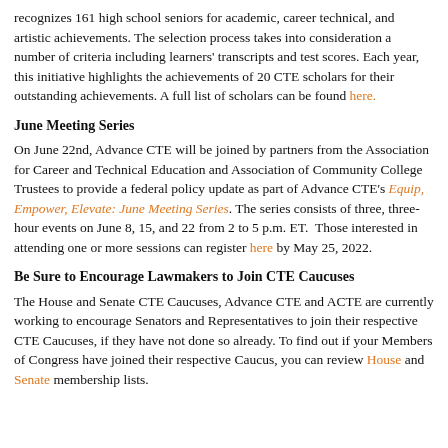recognizes 161 high school seniors for academic, career technical, and artistic achievements. The selection process takes into consideration a number of criteria including learners' transcripts and test scores. Each year, this initiative highlights the achievements of 20 CTE scholars for their outstanding achievements. A full list of scholars can be found here.
June Meeting Series
On June 22nd, Advance CTE will be joined by partners from the Association for Career and Technical Education and Association of Community College Trustees to provide a federal policy update as part of Advance CTE's Equip, Empower, Elevate: June Meeting Series. The series consists of three, three-hour events on June 8, 15, and 22 from 2 to 5 p.m. ET.  Those interested in attending one or more sessions can register here by May 25, 2022.
Be Sure to Encourage Lawmakers to Join CTE Caucuses
The House and Senate CTE Caucuses, Advance CTE and ACTE are currently working to encourage Senators and Representatives to join their respective CTE Caucuses, if they have not done so already. To find out if your Members of Congress have joined their respective Caucus, you can review House and Senate membership lists.